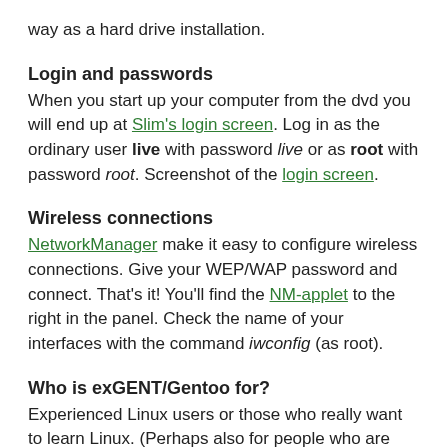way as a hard drive installation.
Login and passwords
When you start up your computer from the dvd you will end up at Slim's login screen. Log in as the ordinary user live with password live or as root with password root. Screenshot of the login screen.
Wireless connections
NetworkManager make it easy to configure wireless connections. Give your WEP/WAP password and connect. That's it! You'll find the NM-applet to the right in the panel. Check the name of your interfaces with the command iwconfig (as root).
Who is exGENT/Gentoo for?
Experienced Linux users or those who really want to learn Linux. (Perhaps also for people who are bored with mainstream distributions like Ubuntu)